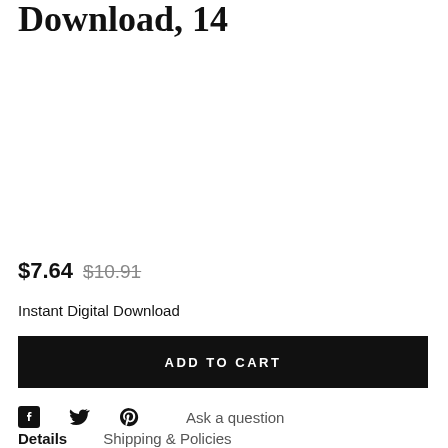Download, 14
$7.64 $10.91
Instant Digital Download
ADD TO CART
Ask a question
Details   Shipping & Policies